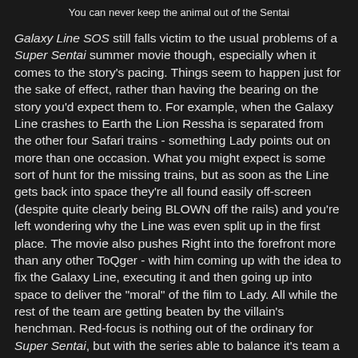You can never keep the animal out of the Sentai
Galaxy Line SOS still falls victim to the usual problems of a Super Sentai summer movie though, especially when it comes to the story's pacing. Things seem to happen just for the sake of effect, rather than having the bearing on the story you'd expect them to. For example, when the Galaxy Line crashes to Earth the Lion Ressha is separated from the other four Safari trains - something Lady points out on more than one occasion. What you might expect is some sort of hunt for the missing trains, but as soon as the Line gets back into space they're all found easily off-screen (despite quite clearly being BLOWN off the rails) and you're left wondering why the Line was even split up in the first place. The movie also pushes Right into the forefront more than any other ToQger - with him coming up with the idea to fix the Galaxy Line, executing it and then going up into space to deliver the "moral" of the film to Lady. All while the rest of the team are getting beaten by the villain's henchman. Red-focus is nothing out of the ordinary for Super Sentai, but with the series able to balance it's team a little better (up until the end anyway) it shouldn't have been too much to hope this film